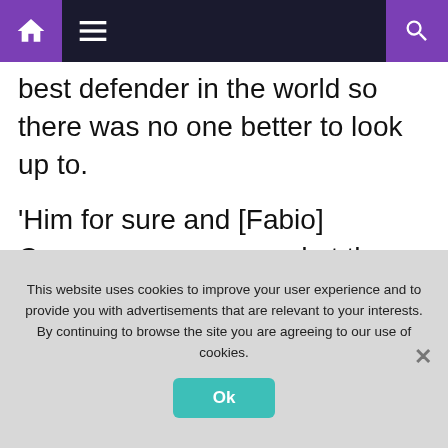Navigation bar with home, menu, and search icons
best defender in the world so there was no one better to look up to.
'Him for sure and [Fabio] Cannavaro was around at the same time when Italy won the World Cup. He won the Ballon d'Or. Then as I have got older I looked at Sergio
This website uses cookies to improve your user experience and to provide you with advertisements that are relevant to your interests. By continuing to browse the site you are agreeing to our use of cookies.